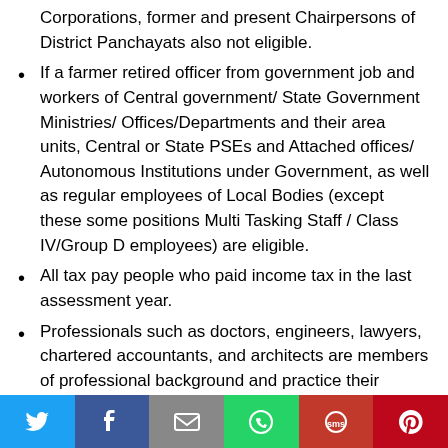Corporations, former and present Chairpersons of District Panchayats also not eligible.
If a farmer retired officer from government job and workers of Central government/ State Government Ministries/ Offices/Departments and their area units, Central or State PSEs and Attached offices/ Autonomous Institutions under Government, as well as regular employees of Local Bodies (except these some positions Multi Tasking Staff / Class IV/Group D employees) are eligible.
All tax pay people who paid income tax in the last assessment year.
Professionals such as doctors, engineers, lawyers, chartered accountants, and architects are members of professional background and practice their profession are not able to apply for this
[Figure (infographic): Social share bar with Twitter, Facebook, Email, WhatsApp, SMS, and Pinterest buttons]